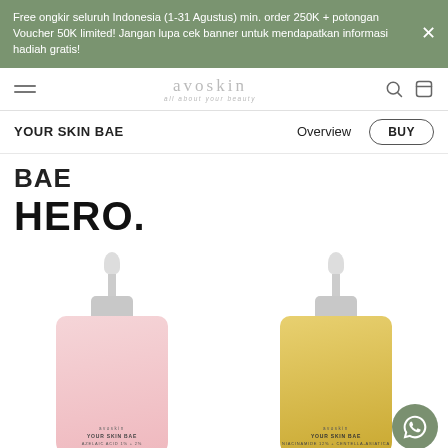Free ongkir seluruh Indonesia (1-31 Agustus) min. order 250K + potongan Voucher 50K limited! Jangan lupa cek banner untuk mendapatkan informasi hadiah gratis!
avoskin — all about your beauty
YOUR SKIN BAE
Overview
BUY
BAE
HERO.
[Figure (photo): Two serum dropper bottles side by side: left bottle is pink/rose colored labeled YOUR SKIN BAE by avoskin, right bottle is amber/yellow colored also labeled YOUR SKIN BAE by avoskin. Both have grey dropper caps.]
[Figure (logo): WhatsApp chat button, circular green icon in bottom right corner]